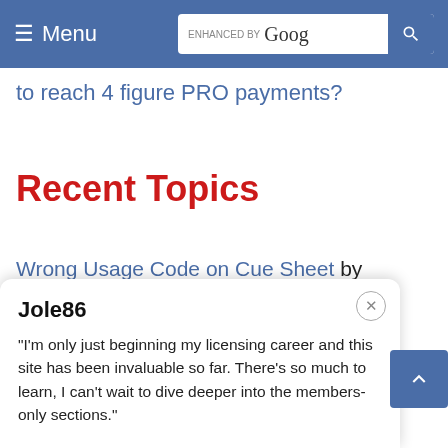Menu | ENHANCED BY Google [search]
to reach 4 figure PRO payments?
Recent Topics
Wrong Usage Code on Cue Sheet by JoshM
To form a company or not? by aethamusic
Jole86
"I'm only just beginning my licensing career and this site has been invaluable so far. There's so much to learn, I can't wait to dive deeper into the members-only sections."